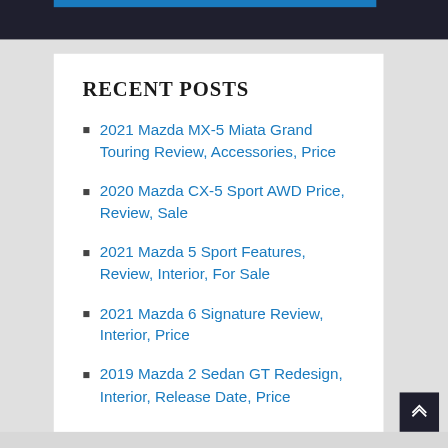RECENT POSTS
2021 Mazda MX-5 Miata Grand Touring Review, Accessories, Price
2020 Mazda CX-5 Sport AWD Price, Review, Sale
2021 Mazda 5 Sport Features, Review, Interior, For Sale
2021 Mazda 6 Signature Review, Interior, Price
2019 Mazda 2 Sedan GT Redesign, Interior, Release Date, Price